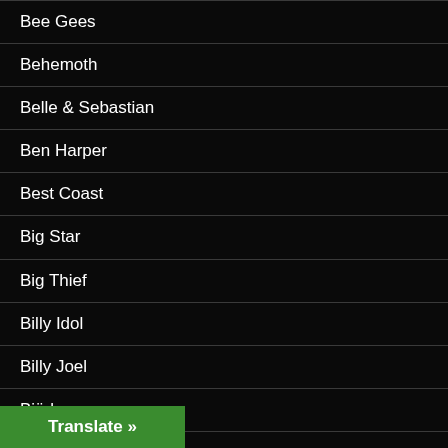Bee Gees
Behemoth
Belle & Sebastian
Ben Harper
Best Coast
Big Star
Big Thief
Billy Idol
Billy Joel
Björk
Black Lips
Translate »